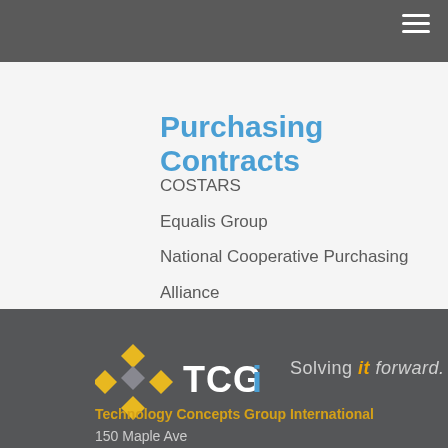Certification
Purchasing Contracts
COSTARS
Equalis Group
National Cooperative Purchasing Alliance
[Figure (logo): TCGi logo with diamond/arrow shapes in yellow and gray, company name TCGi in white text, on dark gray background]
Solving it forward.
Technology Concepts Group International
150 Maple Ave